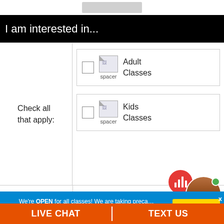[Figure (screenshot): Gray rounded rectangle placeholder at top of mobile UI]
I am interested in...
Check all that apply:
[Figure (screenshot): Checkbox with spacer image icon and label Adult Classes]
Adult Classes
[Figure (screenshot): Checkbox with spacer image icon and label Kids Classes]
Kids Classes
We're OPEN for all classes! We are taking precautions for cleanliness and safety.
Get Started...
LIVE CHAT
TEXT US